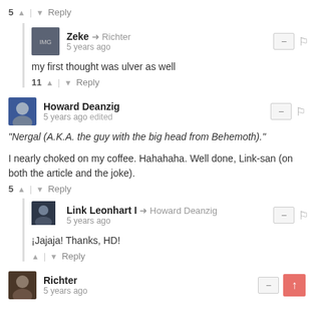5 ↑ | ↓ Reply
Zeke → Richter
5 years ago
my first thought was ulver as well
11 ↑ | ↓ Reply
Howard Deanzig
5 years ago edited
"Nergal (A.K.A. the guy with the big head from Behemoth)."
I nearly choked on my coffee. Hahahaha. Well done, Link-san (on both the article and the joke).
5 ↑ | ↓ Reply
Link Leonhart I → Howard Deanzig
5 years ago
¡Jajaja! Thanks, HD!
↑ | ↓ Reply
Richter
5 years ago